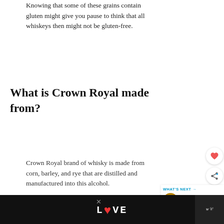Knowing that some of these grains contain gluten might give you pause to think that all whiskeys then might not be gluten-free.
What is Crown Royal made from?
Crown Royal brand of whisky is made from corn, barley, and rye that are distilled and manufactured into this alcohol.
What is gluten?
[Figure (screenshot): WHAT'S NEXT widget showing 'Is Jameson Gluten-free?' with a thumbnail image of a whiskey glass]
[Figure (screenshot): Advertisement banner with LOOVE logo and close button]